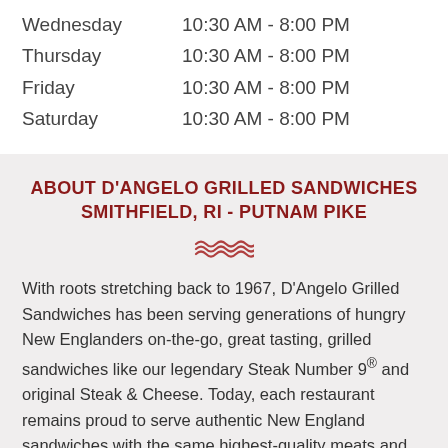Wednesday    10:30 AM - 8:00 PM
Thursday    10:30 AM - 8:00 PM
Friday    10:30 AM - 8:00 PM
Saturday    10:30 AM - 8:00 PM
ABOUT D'ANGELO GRILLED SANDWICHES SMITHFIELD, RI - PUTNAM PIKE
With roots stretching back to 1967, D'Angelo Grilled Sandwiches has been serving generations of hungry New Englanders on-the-go, great tasting, grilled sandwiches like our legendary Steak Number 9® and original Steak & Cheese. Today, each restaurant remains proud to serve authentic New England sandwiches with the same highest-quality meats and breads that first won over fans more than 50 years ago. Follow D'Angelo Grilled Sandwiches on Facebook, Twitter